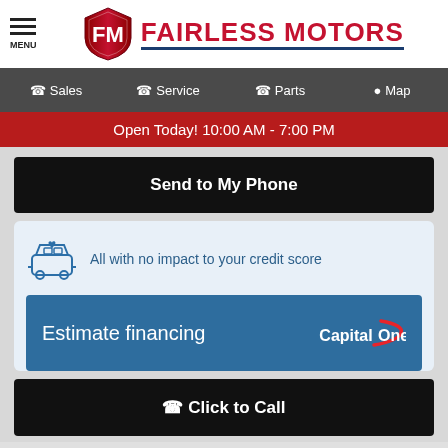[Figure (logo): Fairless Motors logo with FM shield and red text]
Sales
Service
Parts
Map
Open Today! 10:00 AM - 7:00 PM
Send to My Phone
All with no impact to your credit score
Estimate financing
Click to Call